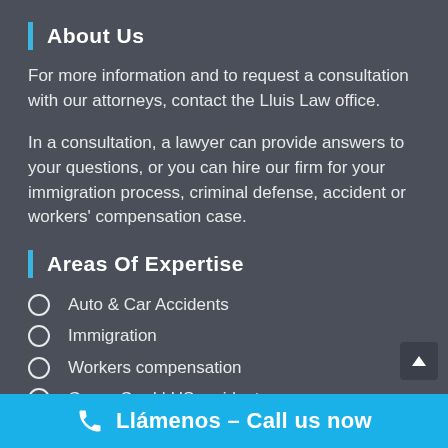About Us
For more information and to request a consultation with our attorneys, contact the Lluis Law office.
In a consultation, a lawyer can provide answers to your questions, or you can hire our firm for your immigration process, criminal defense, accident or workers' compensation case.
Areas Of Expertise
Auto & Car Accidents
Immigration
Workers compensation
Green Card | US resident
Llámenos – Call us now